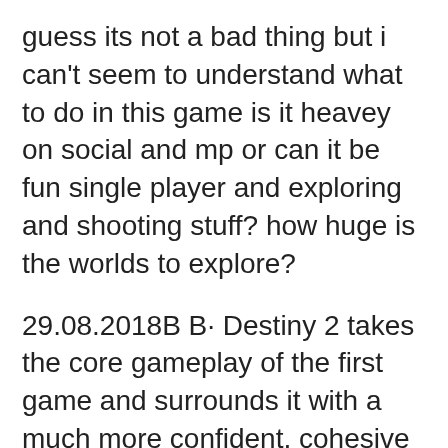guess its not a bad thing but i can't seem to understand what to do in this game is it heavey on social and mp or can it be fun single player and exploring and shooting stuff? how huge is the worlds to explore?
29.08.2018В В· Destiny 2 takes the core gameplay of the first game and surrounds it with a much more confident, cohesive experience. This isn't Destiny reimagined but it вЂ¦ Hands on with the Destiny 2 single player campaign Categories: News, PC, Previews, PS4, Top Stories, Xbox One. May 18th, 2017 . by Craig Majaski. After todayвЂ™s Destiny 2 presentation, the gaming